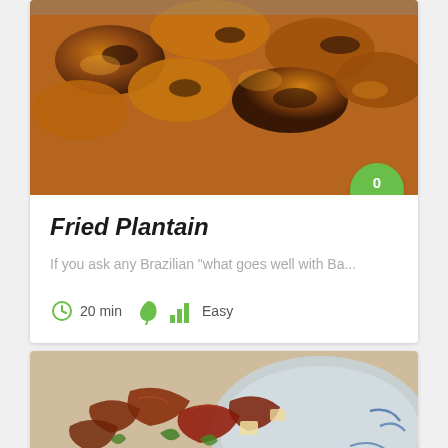[Figure (photo): Close-up photo of fried plantain slices, golden-brown and caramelized, on a plate]
Fried Plantain
If you ask any Brazilian "what goes well with Ba...
20 min   Easy
[Figure (photo): Close-up photo of a salad with prosciutto, cheese, and greens on a blue and white decorative plate]